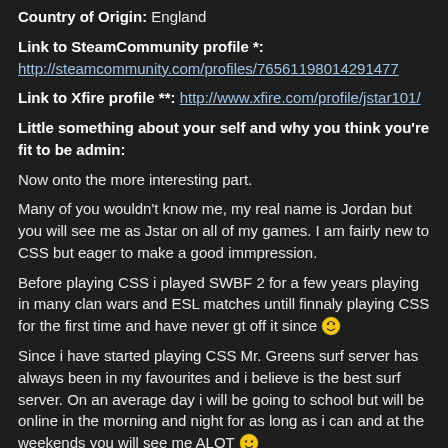Country of Origin: England
Link to SteamCommunity profile *:
http://steamcommunity.com/profiles/76561198014291477
Link to Xfire profile **: http://www.xfire.com/profile/jstar101/
Little something about your self and why you think you're fit to be admin:
Now onto the more interesting part.
Many of you wouldn't know me, my real name is Jordan but you will see me as Jstar on all of my games. I am fairly new to CSS but eager to make a good immpression.
Before playing CSS i played SWBF 2 for a few years playing in many clan wars and ESL matches untill finnaly playing CSS for the first time and have never gt off it since 😇
Since i have started playing CSS Mr. Greens surf server has always been in my favourites and i believe is the best surf server. On an average day i will be going to school but will be online in the morning and night for as long as i can and at the weekends you will see me ALOT 🙂